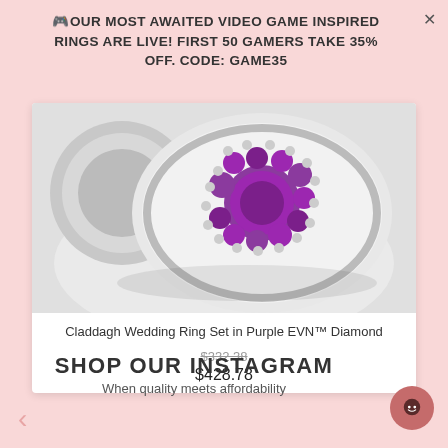🎮OUR MOST AWAITED VIDEO GAME INSPIRED RINGS ARE LIVE! FIRST 50 GAMERS TAKE 35% OFF. CODE: GAME35
[Figure (photo): Close-up of a Claddagh wedding ring set featuring purple gemstones arranged in a circular pattern with silver beading detail on a white background]
Claddagh Wedding Ring Set in Purple EVN™ Diamond
$332.38 (strikethrough) $428.78
[Figure (other): Left navigation arrow (chevron) in light pink/salmon color]
[Figure (other): Right navigation arrow (chevron) in light pink/salmon color]
SHOP OUR INSTAGRAM
When quality meets affordability
[Figure (other): Round chat/support button with smiley face icon in dark pink/mauve]